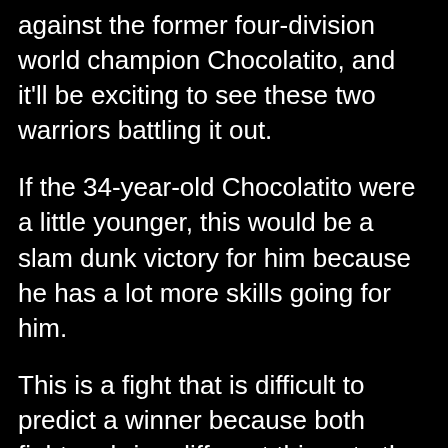against the former four-division world champion Chocolatito, and it'll be exciting to see these two warriors battling it out.
If the 34-year-old Chocolatito were a little younger, this would be a slam dunk victory for him because he has a lot more skills going for him.
This is a fight that is difficult to predict a winner because both fighters bring different things to the table.
MARTINEZ CAN GIVE CHOCOLATITO PROBLEMS